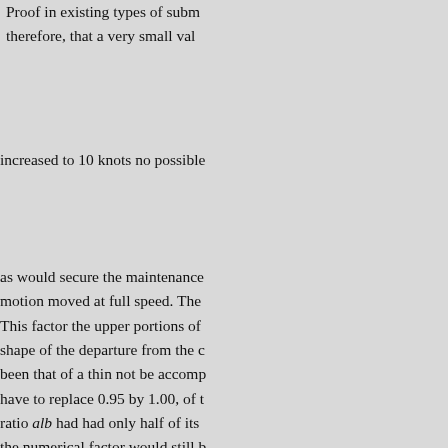Proof in existing types of submarines, therefore, that a very small value increased to 10 knots no possible as would secure the maintenance motion moved at full speed. The This factor the upper portions of shape of the departure from the c been that of a thin not be accomp have to replace 0.95 by 1.00, of t ratio alb had had only half of its the numerical factor would still b